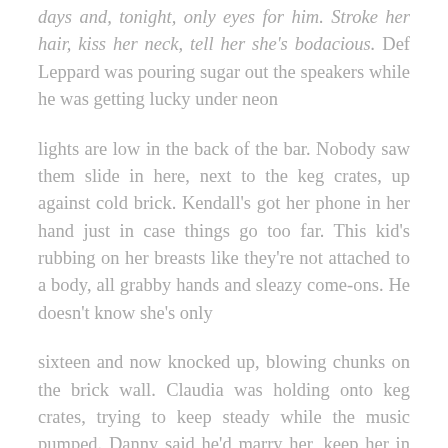days and, tonight, only eyes for him. Stroke her hair, kiss her neck, tell her she's bodacious. Def Leppard was pouring sugar out the speakers while he was getting lucky under neon
lights are low in the back of the bar. Nobody saw them slide in here, next to the keg crates, up against cold brick. Kendall's got her phone in her hand just in case things go too far. This kid's rubbing on her breasts like they're not attached to a body, all grabby hands and sleazy come-ons. He doesn't know she's only
sixteen and now knocked up, blowing chunks on the brick wall. Claudia was holding onto keg crates, trying to keep steady while the music pumped. Danny said he'd marry her, keep her in high-tops and hose. Crap, here comes another